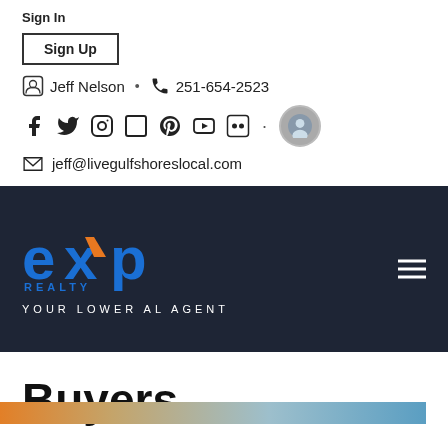Sign In
Sign Up
Jeff Nelson  •  251-654-2523
[Figure (other): Social media icons row: Facebook, Twitter, Instagram, LinkedIn, Pinterest, YouTube, Flickr, and user avatar]
jeff@livegulfshoreslocal.com
[Figure (logo): eXp Realty logo with blue text and orange arrow, tagline YOUR LOWER AL AGENT on dark navy background]
Buyers
[Figure (photo): Partial bottom strip with colorful image]